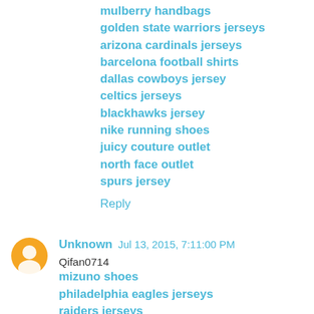mulberry handbags
golden state warriors jerseys
arizona cardinals jerseys
barcelona football shirts
dallas cowboys jersey
celtics jerseys
blackhawks jersey
nike running shoes
juicy couture outlet
north face outlet
spurs jersey
Reply
Unknown  Jul 13, 2015, 7:11:00 PM
Qifan0714
mizuno shoes
philadelphia eagles jerseys
raiders jerseys
uggs on sale
kate spade outlet
nike free nike free run free running free run nike